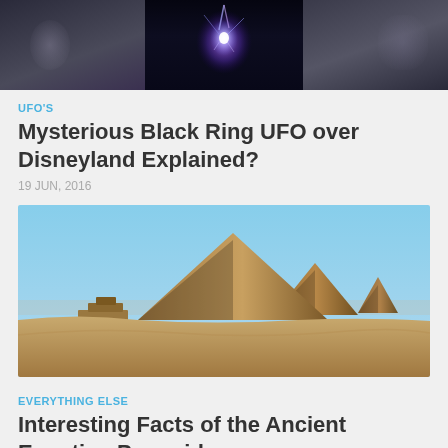[Figure (photo): Three-panel dark image showing blurry lights and mysterious purple/blue glowing lights, likely UFO-related imagery]
UFO'S
Mysterious Black Ring UFO over Disneyland Explained?
19 JUN, 2016
[Figure (photo): Photograph of the Great Pyramids of Giza in Egypt against a clear blue sky with sandy desert in the foreground]
EVERYTHING ELSE
Interesting Facts of the Ancient Egyptian Pyramids